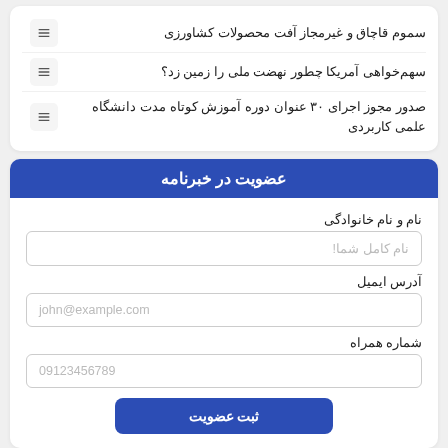سموم قاچاق و غیرمجاز آفت محصولات کشاورزی
سهم‌خواهی آمریکا چطور نهضت ملی را زمین زد؟
صدور مجوز اجرای ۳۰ عنوان دوره آموزش کوتاه مدت دانشگاه علمی کاربردی
عضویت در خبرنامه
نام و نام خانوادگی
نام کامل شما!
آدرس ایمیل
john@example.com
شماره همراه
09123456789
ثبت عضویت